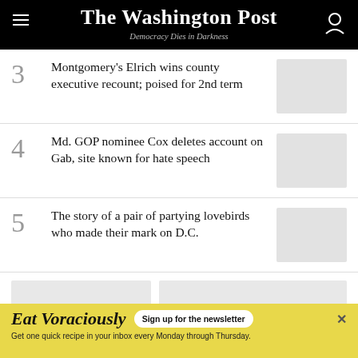The Washington Post — Democracy Dies in Darkness
3 Montgomery's Elrich wins county executive recount; poised for 2nd term
4 Md. GOP nominee Cox deletes account on Gab, site known for hate speech
5 The story of a pair of partying lovebirds who made their mark on D.C.
[Figure (other): Advertisement banner: Eat Voraciously — Sign up for the newsletter. Get one quick recipe in your inbox every Monday through Thursday.]